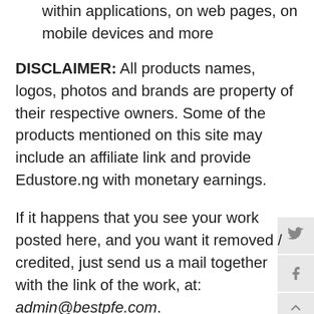within applications, on web pages, on mobile devices and more
DISCLAIMER: All products names, logos, photos and brands are property of their respective owners. Some of the products mentioned on this site may include an affiliate link and provide Edustore.ng with monetary earnings.
If it happens that you see your work posted here, and you want it removed / credited, just send us a mail together with the link of the work, at: admin@bestpfe.com.
We will reply to & honor every request. Please noti may take up to 24 or 48 hours to process your